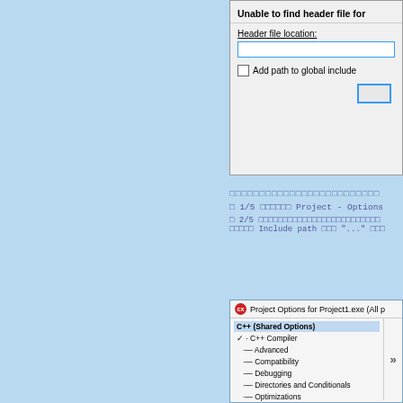[Figure (screenshot): Dialog box: Unable to find header file. Shows 'Header file location:' text input with blue border, 'Add path to global include' checkbox, and a button with blue border. Behind it a dotted/hatched pattern screenshot area.]
□□□□□□□□□□□□□□□□□□□□□□□□□
□ 1/5 □□□□□□ Project - Options
□ 2/5 □□□□□□□□□□□□□□□□□□□□□□□□□ Include path □□□ "..." □□□
[Figure (screenshot): Project Options for Project1.exe (All ...) window showing tree: C++ (Shared Options) selected, C++ Compiler expanded with sub-items: Advanced, Compatibility, Debugging, Directories and Conditionals, Optimizations, and more. Right side partially visible with arrow.]